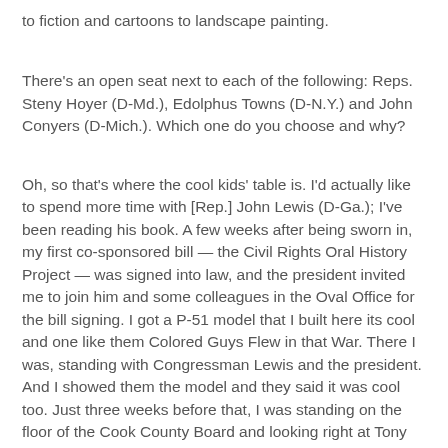to fiction and cartoons to landscape painting.
There's an open seat next to each of the following: Reps. Steny Hoyer (D-Md.), Edolphus Towns (D-N.Y.) and John Conyers (D-Mich.). Which one do you choose and why?
Oh, so that's where the cool kids' table is. I'd actually like to spend more time with [Rep.] John Lewis (D-Ga.); I've been reading his book. A few weeks after being sworn in, my first co-sponsored bill — the Civil Rights Oral History Project — was signed into law, and the president invited me to join him and some colleagues in the Oval Office for the bill signing. I got a P-51 model that I built here its cool and one like them Colored Guys Flew in that War. There I was, standing with Congressman Lewis and the president. And I showed them the model and they said it was cool too. Just three weeks before that, I was standing on the floor of the Cook County Board and looking right at Tony Peraica's shoe laces. He busted up my first model of the plane the Colored Guys Flew - Tusk-something. Tony's Republican and Republicans Hate